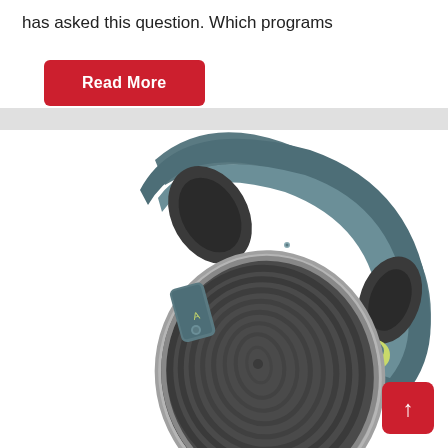has asked this question. Which programs
[Figure (other): Red rounded rectangle button with white bold text 'Read More']
[Figure (photo): Close-up photograph of teal/grey Skullcandy over-ear headphones with decorative swirl pattern on earcup and yellow skull logo on headband, shown at an angle on white background]
[Figure (other): Red rounded square scroll-to-top button with white upward arrow in bottom right corner]